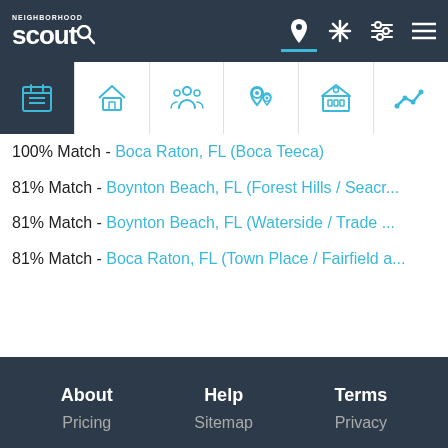NeighborhoodScout - navigation bar with logo and icons
[Figure (screenshot): Icon tab bar with 6 icons: list/calendar, house, people/community, location pins, government building, line chart]
100% Match - Boca Raton, FL (Boca Teeca)
81% Match - Boynton Beach, FL (Forest Hills / Seacr...
81% Match - Boynton Beach, FL (Waterside / Trade ...
81% Match - Boca Raton, FL (Town Place / Fairfield a...
About   Help   Terms   Pricing   Sitemap   Privacy